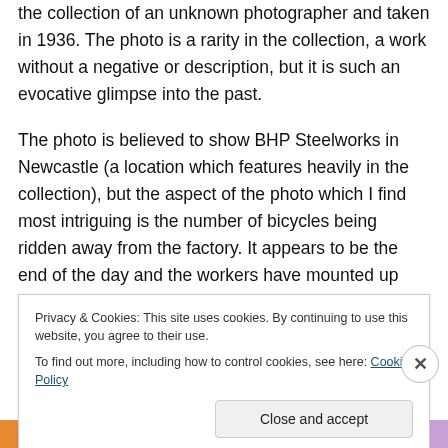the collection of an unknown photographer and taken in 1936. The photo is a rarity in the collection, a work without a negative or description, but it is such an evocative glimpse into the past.

The photo is believed to show BHP Steelworks in Newcastle (a location which features heavily in the collection), but the aspect of the photo which I find most intriguing is the number of bicycles being ridden away from the factory. It appears to be the end of the day and the workers have mounted up and are heading home on their two wheeled transport. Several sources I have been
Privacy & Cookies: This site uses cookies. By continuing to use this website, you agree to their use.
To find out more, including how to control cookies, see here: Cookie Policy
Close and accept